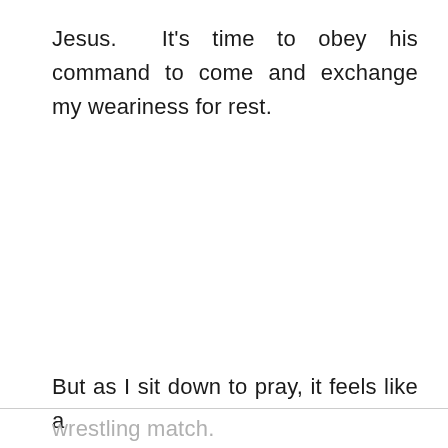Jesus.  It's time to obey his command to come and exchange my weariness for rest.
But as I sit down to pray, it feels like a wrestling match.